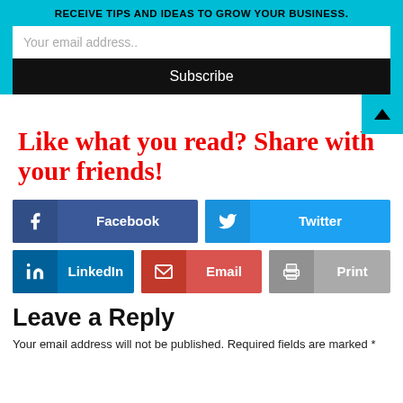RECEIVE TIPS AND IDEAS TO GROW YOUR BUSINESS.
Your email address..
Subscribe
Like what you read? Share with your friends!
[Figure (infographic): Social share buttons: Facebook, Twitter, LinkedIn, Email, Print]
Leave a Reply
Your email address will not be published. Required fields are marked *